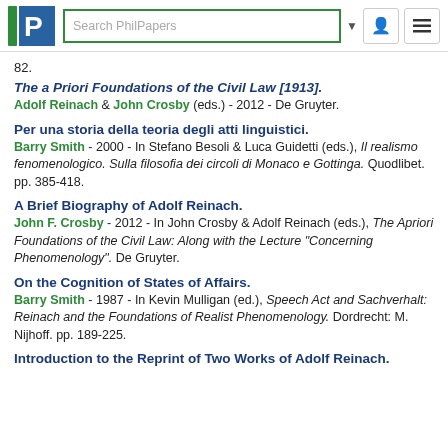Search PhilPapers
82.
The a Priori Foundations of the Civil Law [1913].
Adolf Reinach & John Crosby (eds.) - 2012 - De Gruyter.
Per una storia della teoria degli atti linguistici.
Barry Smith - 2000 - In Stefano Besoli & Luca Guidetti (eds.), Il realismo fenomenologico. Sulla filosofia dei circoli di Monaco e Gottinga. Quodlibet. pp. 385-418.
A Brief Biography of Adolf Reinach.
John F. Crosby - 2012 - In John Crosby & Adolf Reinach (eds.), The Apriori Foundations of the Civil Law: Along with the Lecture "Concerning Phenomenology". De Gruyter.
On the Cognition of States of Affairs.
Barry Smith - 1987 - In Kevin Mulligan (ed.), Speech Act and Sachverhalt: Reinach and the Foundations of Realist Phenomenology. Dordrecht: M. Nijhoff. pp. 189-225.
Introduction to the Reprint of Two Works of Adolf Reinach.